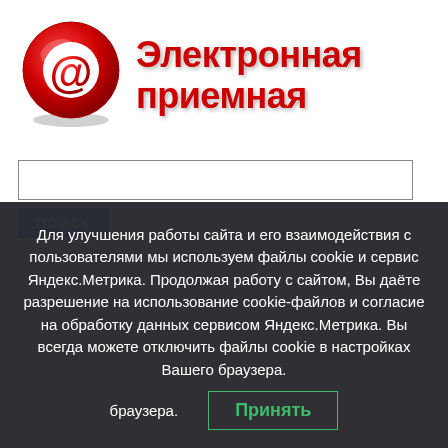[Figure (logo): Red 3D @ symbol logo for Электронная приёмная website]
Электронная приемная
[Figure (screenshot): Search input field (empty text box)]
ПОИСК
Для улучшения работы сайта и его взаимодействия с пользователями мы используем файлы cookie и сервис Яндекс.Метрика. Продолжая работу с сайтом, Вы даёте разрешение на использование cookie-файлов и согласие на обработку данных сервисом Яндекс.Метрика. Вы всегда можете отключить файлы cookie в настройках Вашего браузера.
Принять